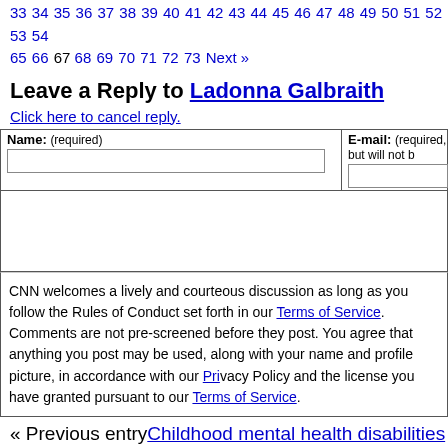33 34 35 36 37 38 39 40 41 42 43 44 45 46 47 48 49 50 51 52 53 54 65 66 67 68 69 70 71 72 73 Next »
Leave a Reply to Ladonna Galbraith
Click here to cancel reply.
| Name: (required) | E-mail: (required, but will not be published) |
| --- | --- |
| [input] | [input] |
CNN welcomes a lively and courteous discussion as long as you follow the Rules of Conduct set forth in our Terms of Service. Comments are not pre-screened before they post. You agree that anything you post may be used, along with your name and profile picture, in accordance with our Privacy Policy and the license you have granted pursuant to our Terms of Service.
« Previous entry Childhood mental health disabilities on the rise